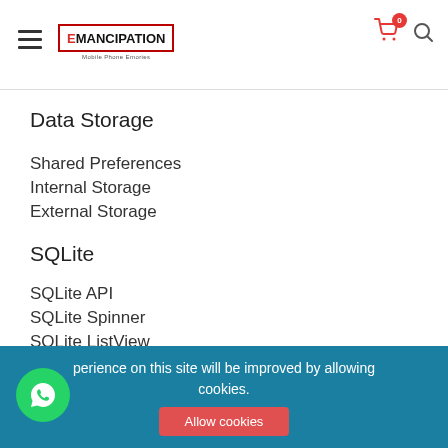Emancipation — navigation header with cart and search icons
Data Storage
Shared Preferences
Internal Storage
External Storage
SQLite
SQLite API
SQLite Spinner
SQLite ListView
Your experience on this site will be improved by allowing cookies.
Allow cookies